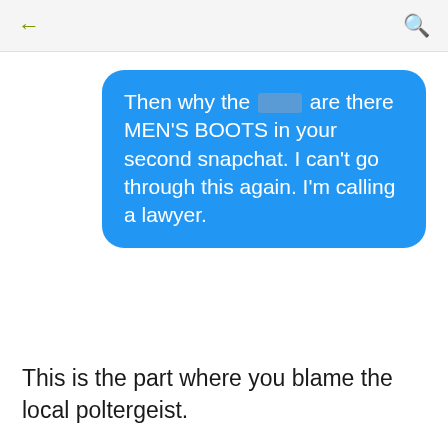[Figure (screenshot): Mobile chat app top navigation bar with back arrow and search icon]
Then why the [redacted] are there MEN'S BOOTS in your second snapchat. I can't go through this again. I'm calling a lawyer.
This is the part where you blame the local poltergeist.